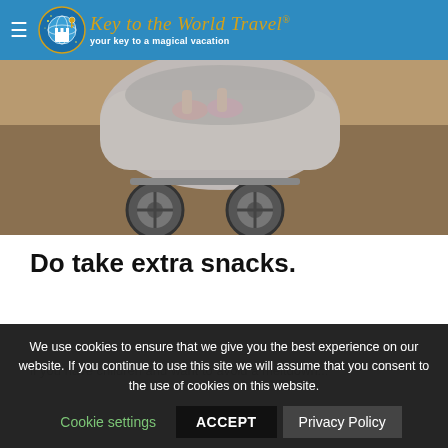Key to the World Travel® — your key to a magical vacation
[Figure (photo): Close-up photo of a baby stroller wheels on a stone/dirt ground surface, with a child's feet visible inside the stroller.]
Do take extra snacks.
if you have children...
We use cookies to ensure that we give you the best experience on our website. If you continue to use this site we will assume that you consent to the use of cookies on this website.
Cookie settings   ACCEPT   Privacy Policy